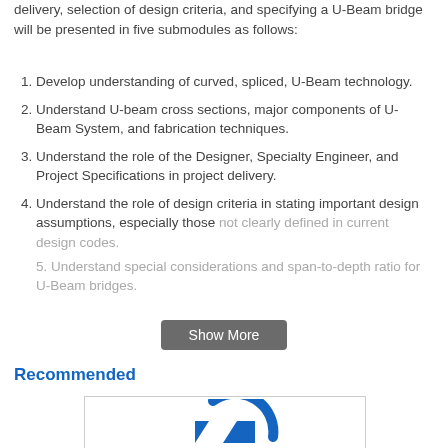delivery, selection of design criteria, and specifying a U-Beam bridge will be presented in five submodules as follows:
Develop understanding of curved, spliced, U-Beam technology.
Understand U-beam cross sections, major components of U-Beam System, and fabrication techniques.
Understand the role of the Designer, Specialty Engineer, and Project Specifications in project delivery.
Understand the role of design criteria in stating important design assumptions, especially those not clearly defined in current design codes.
[partially obscured]
Show More
Recommended
[Figure (logo): Logo with blue arc and geometric shape on white background inside a bordered card]